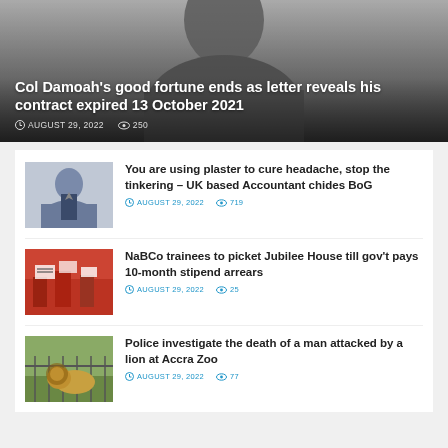[Figure (photo): Hero image: close-up photo of a man's face, dark/greyscale, used as background for headline]
Col Damoah's good fortune ends as letter reveals his contract expired 13 October 2021
AUGUST 29, 2022   250
[Figure (photo): Thumbnail photo of a man in a suit speaking at a podium]
You are using plaster to cure headache, stop the tinkering – UK based Accountant chides BoG
AUGUST 29, 2022   719
[Figure (photo): Thumbnail photo of protesters holding signs]
NaBCo trainees to picket Jubilee House till gov't pays 10-month stipend arrears
AUGUST 29, 2022   25
[Figure (photo): Thumbnail photo of a lion near a fence]
Police investigate the death of a man attacked by a lion at Accra Zoo
AUGUST 29, 2022   77